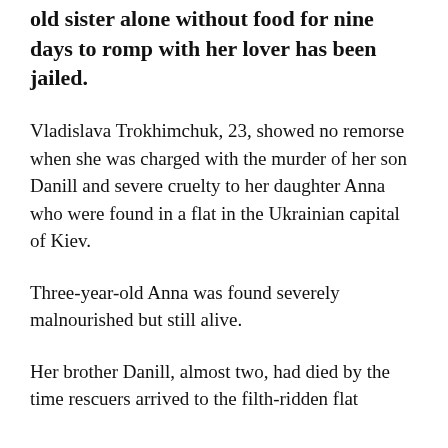old sister alone without food for nine days to romp with her lover has been jailed.
Vladislava Trokhimchuk, 23, showed no remorse when she was charged with the murder of her son Danill and severe cruelty to her daughter Anna who were found in a flat in the Ukrainian capital of Kiev.
Three-year-old Anna was found severely malnourished but still alive.
Her brother Danill, almost two, had died by the time rescuers arrived to the filth-ridden flat